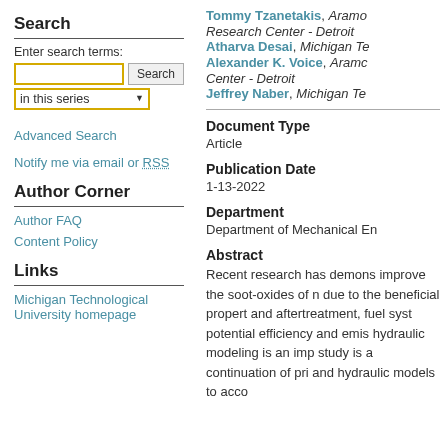Search
Enter search terms:
in this series
Advanced Search
Notify me via email or RSS
Author Corner
Author FAQ
Content Policy
Links
Michigan Technological University homepage
Tommy Tzanetakis, Aramo Research Center - Detroit
Atharva Desai, Michigan Te
Alexander K. Voice, Aramc Center - Detroit
Jeffrey Naber, Michigan Te
Document Type
Article
Publication Date
1-13-2022
Department
Department of Mechanical En
Abstract
Recent research has demons improve the soot-oxides of n due to the beneficial propert and aftertreatment, fuel syst potential efficiency and emis hydraulic modeling is an imp study is a continuation of pri and hydraulic models to acco